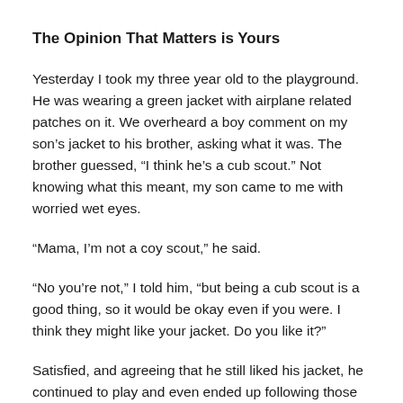The Opinion That Matters is Yours
Yesterday I took my three year old to the playground. He was wearing a green jacket with airplane related patches on it. We overheard a boy comment on my son’s jacket to his brother, asking what it was. The brother guessed, “I think he’s a cub scout.” Not knowing what this meant, my son came to me with worried wet eyes.
“Mama, I’m not a coy scout,” he said.
“No you’re not,” I told him, “but being a cub scout is a good thing, so it would be okay even if you were. I think they might like your jacket. Do you like it?”
Satisfied, and agreeing that he still liked his jacket, he continued to play and even ended up following those boys around in an attempt to play with them. Meanwhile, I thought